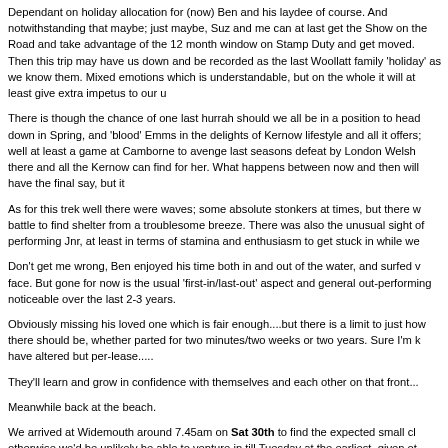Dependant on holiday allocation for (now) Ben and his laydee of course. And notwithstanding that maybe; just maybe, Suz and me can at last get the Show on the Road and take advantage of the 12 month window on Stamp Duty and get moved. Then this trip may have us down and be recorded as the last Woollatt family 'holiday' as we know them. Mixed emotions which is understandable, but on the whole it will at least give extra impetus to our u
There is though the chance of one last hurrah should we all be in a position to head down in Spring, and 'blood' Emms in the delights of Kernow lifestyle and all it offers; well at least a game at Camborne to avenge last seasons defeat by London Welsh there and all the Kernow can find for her. What happens between now and then will have the final say, but it
As for this trek well there were waves; some absolute stonkers at times, but there were battle to find shelter from a troublesome breeze. There was also the unusual sight of performing Jnr, at least in terms of stamina and enthusiasm to get stuck in while we
Don't get me wrong, Ben enjoyed his time both in and out of the water, and surfed v face. But gone for now is the usual 'first-in/last-out' aspect and general out-performing noticeable over the last 2-3 years.
Obviously missing his loved one which is fair enough....but there is a limit to just how much there should be, whether parted for two minutes/two weeks or two years. Sure I'm k have altered but per-lease.....
They'll learn and grow in confidence with themselves and each other on that front...
Meanwhile back at the beach.
We arrived at Widemouth around 7.45am on Sat 30th to find the expected small cl otherwise we'd be unlikely be able to venture in till Tuesday at the earliest, given ot forecast. A light breakfast was taken first to allow the waves to get back onto the ba ventured in to make the most of it for an hour or so and get dialled in before it back
It didn't take long to suss and a handful of pleasurable moments gave me enough a what he'd missed as lunch and short kip beckoned. A grumpy response was all tha apparently Suz had been sticking her oar in too for a laugh. I know we shouldn't an but sometimes you just have to don't yer? ;o)
Whether that's giving us advantage ble following and chasing away mid flash